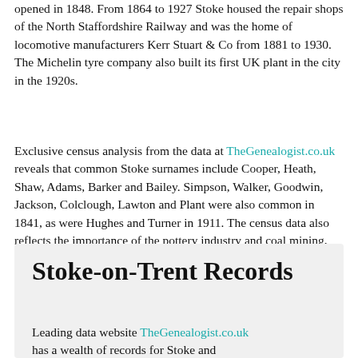opened in 1848. From 1864 to 1927 Stoke housed the repair shops of the North Staffordshire Railway and was the home of locomotive manufacturers Kerr Stuart & Co from 1881 to 1930. The Michelin tyre company also built its first UK plant in the city in the 1920s.
Exclusive census analysis from the data at TheGenealogist.co.uk reveals that common Stoke surnames include Cooper, Heath, Shaw, Adams, Barker and Bailey. Simpson, Walker, Goodwin, Jackson, Colclough, Lawton and Plant were also common in 1841, as were Hughes and Turner in 1911. The census data also reflects the importance of the pottery industry and coal mining, with related jobs dominating occupation statistics.
Stoke-on-Trent Records
Leading data website TheGenealogist.co.uk has a wealth of records for Stoke and